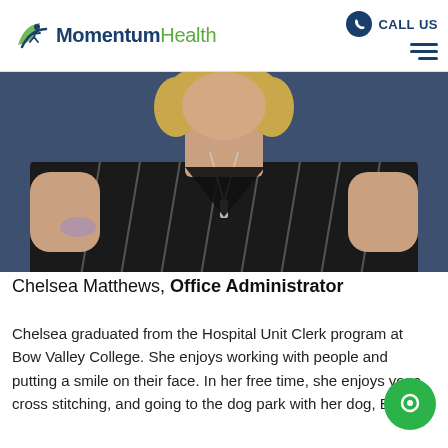Momentum Health — CALL US
[Figure (photo): Professional headshot of Chelsea Matthews, a woman with blonde wavy hair wearing a black striped top and a long pendant necklace, photographed against a blue background.]
Chelsea Matthews, Office Administrator
Chelsea graduated from the Hospital Unit Clerk program at Bow Valley College. She enjoys working with people and putting a smile on their face. In her free time, she enjoys yoga, cross stitching, and going to the dog park with her dog, Basil.